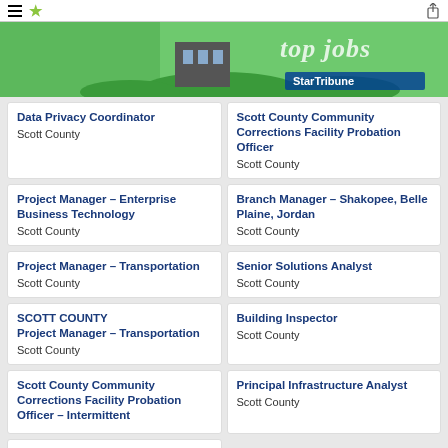StarTribune
[Figure (illustration): StarTribune Top Jobs banner with green grass background]
Data Privacy Coordinator — Scott County
Scott County Community Corrections Facility Probation Officer — Scott County
Project Manager – Enterprise Business Technology — Scott County
Branch Manager – Shakopee, Belle Plaine, Jordan — Scott County
Project Manager – Transportation — Scott County
Senior Solutions Analyst — Scott County
SCOTT COUNTY Project Manager – Transportation — Scott County
Building Inspector — Scott County
Scott County Community Corrections Facility Probation Officer – Intermittent — Scott County
Principal Infrastructure Analyst — Scott County
Accountant-Sheriff's